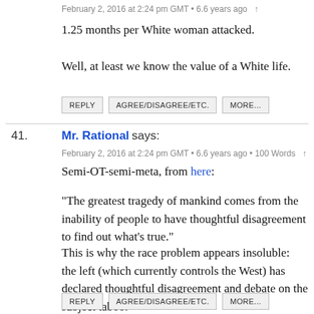February 2, 2016 at 2:24 pm GMT • 6.6 years ago ↑
1.25 months per White woman attacked.
Well, at least we know the value of a White life.
REPLY | AGREE/DISAGREE/ETC. | MORE...
41. Mr. Rational says: February 2, 2016 at 2:24 pm GMT • 6.6 years ago • 100 Words ↑
Semi-OT-semi-meta, from here:
"The greatest tragedy of mankind comes from the inability of people to have thoughtful disagreement to find out what's true."
This is why the race problem appears insoluble:  the left (which currently controls the West) has declared thoughtful disagreement and debate on the subject taboo.
REPLY | AGREE/DISAGREE/ETC. | MORE...